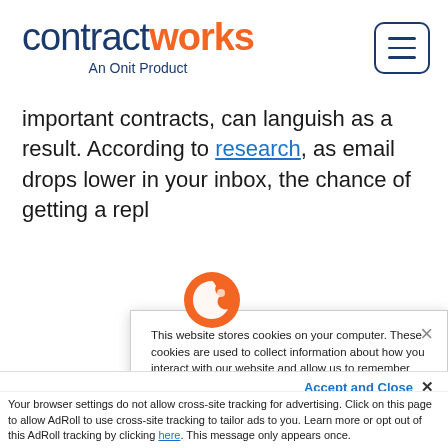[Figure (logo): ContractWorks logo — 'contract' in dark blue, 'works' in orange, with 'An Onit Product' subtitle in dark blue beneath]
[Figure (other): Hamburger menu button — three horizontal lines inside a rounded rectangle border in dark blue]
important contracts, can languish as a result. According to research, as email drops lower in your inbox, the chance of getting a repl...
[Figure (logo): Orange circular Onit/ContractWorks icon overlapping cookie popup]
This website stores cookies on your computer. These cookies are used to collect information about how you interact with our website and allow us to remember you. We use this information in order to improve and customize your browsing experience and for analytics and metrics about our visitors both on this website and other media. To find out more about the cookies we use, see our Privacy Policy.
Accept and Close ×
Your browser settings do not allow cross-site tracking for advertising. Click on this page to allow AdRoll to use cross-site tracking to tailor ads to you. Learn more or opt out of this AdRoll tracking by clicking here. This message only appears once.